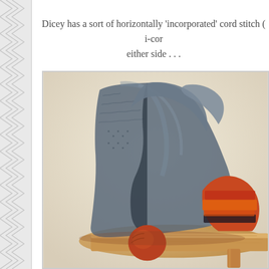Dicey has a sort of horizontally ‘incorporated’ cord stitch ( i-cor either side . . .
[Figure (photo): A pair of knitted socks or mittens in blue-grey and orange-red striped yarn, draped over a wooden surface (appears to be a stool or small table), photographed against a light beige background.]